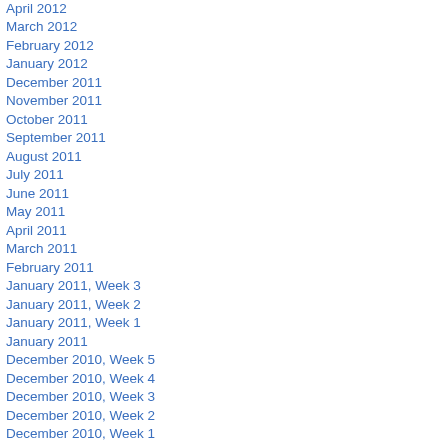April 2012
March 2012
February 2012
January 2012
December 2011
November 2011
October 2011
September 2011
August 2011
July 2011
June 2011
May 2011
April 2011
March 2011
February 2011
January 2011, Week 3
January 2011, Week 2
January 2011, Week 1
January 2011
December 2010, Week 5
December 2010, Week 4
December 2010, Week 3
December 2010, Week 2
December 2010, Week 1
November 2010, Week 5
November 2010, Week 4
November 2010, Week 3
November 2010, Week 2
November 2010, Week 1
October 2010, Week 5
October 2010, Week 4